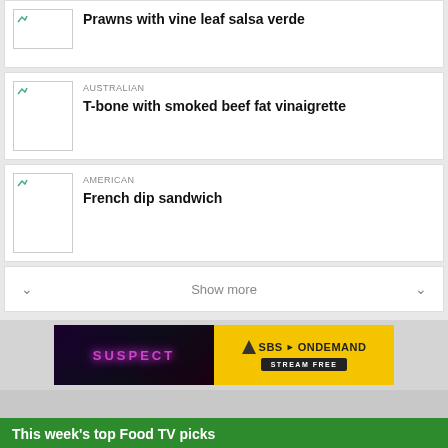AUSTRALIAN - T-bone with smoked beef fat vinaigrette
AMERICAN - French dip sandwich
Show more
[Figure (screenshot): SBS On Demand advertisement banner showing Suspect show and SBS On Demand Stream Free branding]
This week's top Food TV picks
CELEBS, FOOD, FUN